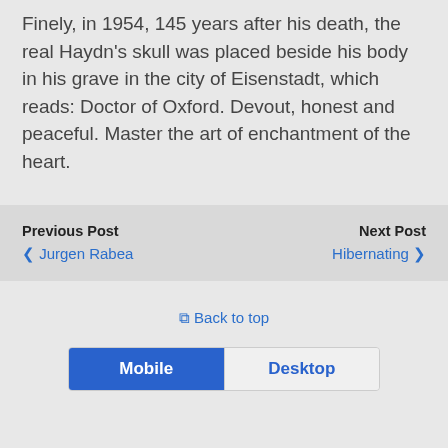Finely, in 1954, 145 years after his death, the real Haydn's skull was placed beside his body in his grave in the city of Eisenstadt, which reads: Doctor of Oxford. Devout, honest and peaceful. Master the art of enchantment of the heart.
Previous Post | Jurgen Rabea | Next Post | Hibernating
Back to top
Mobile | Desktop